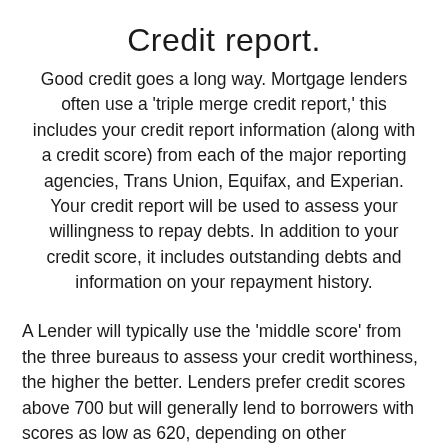Credit report.
Good credit goes a long way. Mortgage lenders often use a 'triple merge credit report,' this includes your credit report information (along with a credit score) from each of the major reporting agencies, Trans Union, Equifax, and Experian. Your credit report will be used to assess your willingness to repay debts. In addition to your credit score, it includes outstanding debts and information on your repayment history.
A Lender will typically use the 'middle score' from the three bureaus to assess your credit worthiness, the higher the better. Lenders prefer credit scores above 700 but will generally lend to borrowers with scores as low as 620, depending on other circumstances and terms associated with the loan. Generally